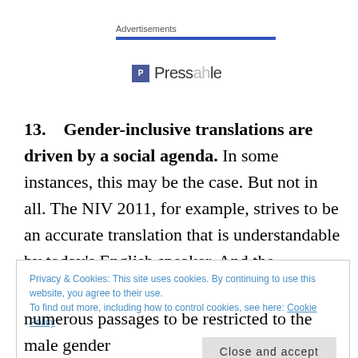Advertisements
[Figure (screenshot): Pressable advertisement logo with blue icon and text 'Pressable']
13.   Gender-inclusive translations are driven by a social agenda.
In some instances, this may be the case. But not in all. The NIV 2011, for example, strives to be an accurate translation that is understandable by today's English speaker. And the translators note that the
Privacy & Cookies: This site uses cookies. By continuing to use this website, you agree to their use.
To find out more, including how to control cookies, see here: Cookie Policy
Close and accept
numerous passages to be restricted to the male gender